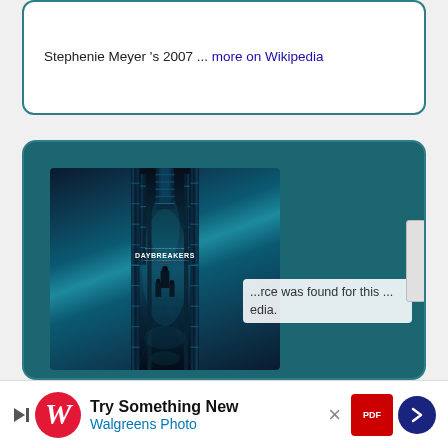Stephenie Meyer 's 2007 ... more on Wikipedia
[Figure (photo): Movie poster for Daybreakers - a sci-fi/horror film featuring dark industrial machinery in teal/blue tones with the title DAYBREAKERS displayed prominently in white text]
...rce was found for this ...edia.
[Figure (screenshot): Walgreens Photo advertisement banner at the bottom: 'Try Something New / Walgreens Photo' with navigation arrow icon and PDF icon]